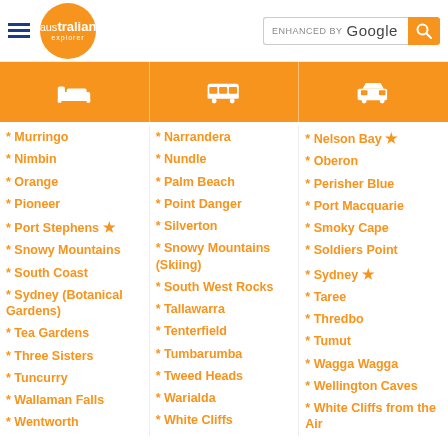australian explorer | ENHANCED BY Google [search]
[Figure (other): Orange navigation bar with icons: bed/accommodation, bus/tours, car/self-drive]
* Murringo
* Narrandera
* Nelson Bay ★
* Nimbin
* Nundle
* Oberon
* Orange
* Palm Beach
* Perisher Blue
* Pioneer
* Point Danger
* Port Macquarie
* Port Stephens ★
* Silverton
* Smoky Cape
* Snowy Mountains
* Snowy Mountains (Skiing)
* Soldiers Point
* South Coast
* South West Rocks
* Sydney ★
* Sydney (Botanical Gardens)
* Tallawarra
* Taree
* Tea Gardens
* Tenterfield
* Thredbo
* Three Sisters
* Tumbarumba
* Tumut
* Tuncurry
* Tweed Heads
* Wagga Wagga
* Wallaman Falls
* Warialda
* Wellington Caves
* Wentworth
* White Cliffs
* White Cliffs from the Air